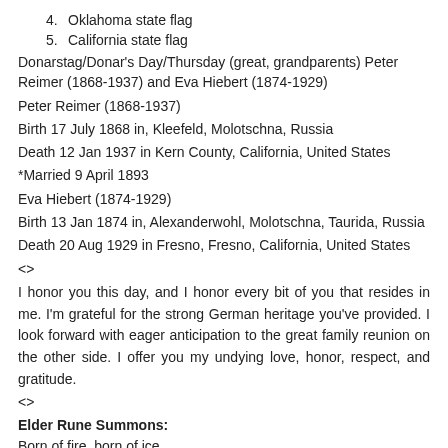4.  Oklahoma state flag
5.  California state flag
Donarstag/Donar's Day/Thursday (great, grandparents) Peter Reimer (1868-1937) and Eva Hiebert (1874-1929)
Peter Reimer (1868-1937)
Birth 17 July 1868 in, Kleefeld, Molotschna, Russia
Death 12 Jan 1937 in Kern County, California, United States
*Married 9 April 1893
Eva Hiebert (1874-1929)
Birth 13 Jan 1874 in, Alexanderwohl, Molotschna, Taurida, Russia
Death 20 Aug 1929 in Fresno, Fresno, California, United States
<>
I honor you this day, and I honor every bit of you that resides in me. I'm grateful for the strong German heritage you've provided. I look forward with eager anticipation to the great family reunion on the other side. I offer you my undying love, honor, respect, and gratitude.
<>
Elder Rune Summons:
Born of fire, born of ice
Life is lived at such a price